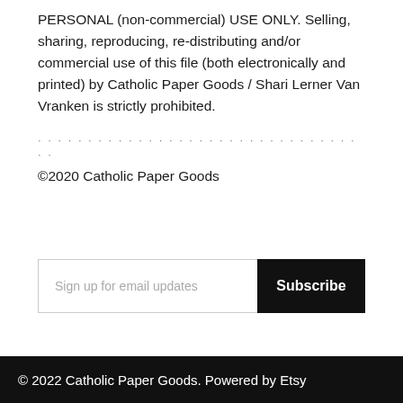PERSONAL (non-commercial) USE ONLY. Selling, sharing, reproducing, re-distributing and/or commercial use of this file (both electronically and printed) by Catholic Paper Goods / Shari Lerner Van Vranken is strictly prohibited.
· · · · · · · · · · · · · · · · · · · · · · · · · · · · · · · · · ·
©2020 Catholic Paper Goods
Sign up for email updates
Subscribe
© 2022 Catholic Paper Goods. Powered by Etsy